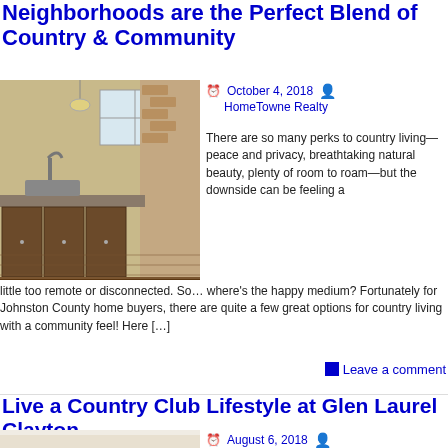Neighborhoods are the Perfect Blend of Country & Community
[Figure (photo): Interior kitchen photo showing dark wood cabinets, granite countertops, hardwood floor, and a window in a country-style home]
October 4, 2018  HomeTowne Realty
There are so many perks to country living—peace and privacy, breathtaking natural beauty, plenty of room to roam—but the downside can be feeling a little too remote or disconnected. So… where's the happy medium? Fortunately for Johnston County home buyers, there are quite a few great options for country living with a community feel! Here […]
Leave a comment
Live a Country Club Lifestyle at Glen Laurel Clayton
[Figure (photo): Interior photo of a bright room in Glen Laurel Clayton community home]
August 6, 2018  HomeTowne Realty